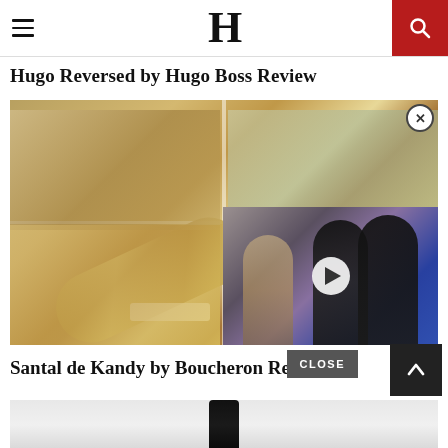H
Hugo Reversed by Hugo Boss Review
[Figure (photo): Large photo of Hugo Boss perfume bottle lying on an open magazine with model photos. An inset video thumbnail shows two people being interviewed with a play button overlay.]
Santal de Kandy by Boucheron Review
[Figure (photo): Partial image of a dark perfume bottle against light gray background.]